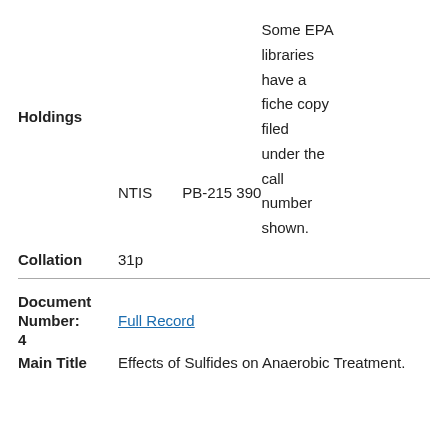Holdings   NTIS   PB-215 390   Some EPA libraries have a fiche copy filed under the call number shown.
Collation   31p
Document Number:   Full Record   4
Main Title   Effects of Sulfides on Anaerobic Treatment.